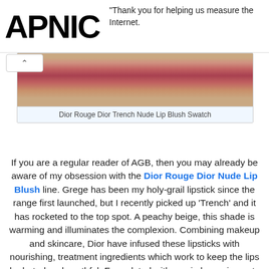APNIC — Thank you for helping us measure the Internet.
[Figure (photo): Close-up photo of lips wearing a peachy-nude lipstick shade (Dior Rouge Dior Trench Nude Lip Blush). The image shows the lower half of a face with the lips prominently displayed.]
Dior Rouge Dior Trench Nude Lip Blush Swatch
If you are a regular reader of AGB, then you may already be aware of my obsession with the Dior Rouge Dior Nude Lip Blush line. Grege has been my holy-grail lipstick since the range first launched, but I recently picked up 'Trench' and it has rocketed to the top spot. A peachy beige, this shade is warming and illuminates the complexion. Combining makeup and skincare, Dior have infused these lipsticks with nourishing, treatment ingredients which work to keep the lips hydrated and youthful. Formulated with semi-sheer pigments to create a luminous, yet natural, effect, the lip blushes have an almost ethereal effect. But, don't be fooled, although the texture appears balmy, they feel rich and don't wear off as quickly as you may presume, lasting for around three hours until a touch-up is needed. Out of any lipsticks I've ever tried,